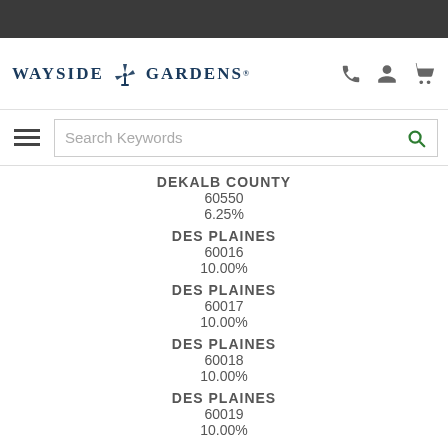Wayside Gardens
DEKALB COUNTY
60550
6.25%
DES PLAINES
60016
10.00%
DES PLAINES
60017
10.00%
DES PLAINES
60018
10.00%
DES PLAINES
60019
10.00%